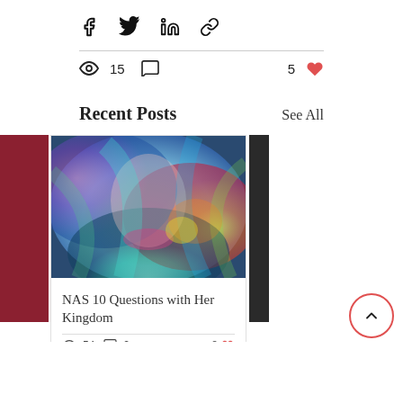[Figure (infographic): Social share bar with Facebook, Twitter, LinkedIn, and link icons]
15 views, 0 comments, 5 likes
Recent Posts
See All
[Figure (photo): Colorful abstract psychedelic face image — iridescent blues, greens, pinks, oranges]
NAS 10 Questions with Her Kingdom
54 views, 2 comments, 8 likes